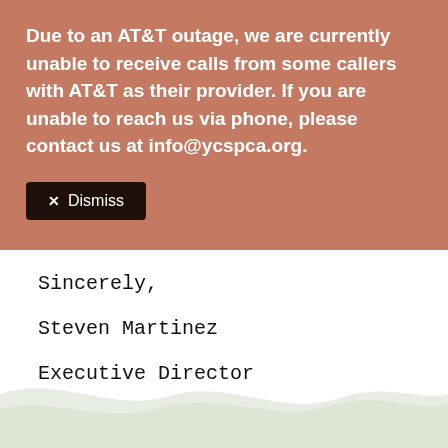Due to an AT&T outage, we are currently unable to receive calls from some callers with AT&T as their provider. If you are unable to reach us via phone, please contact us at info@ycspca.org.
✕ Dismiss
Sincerely,
Steven Martinez
Executive Director